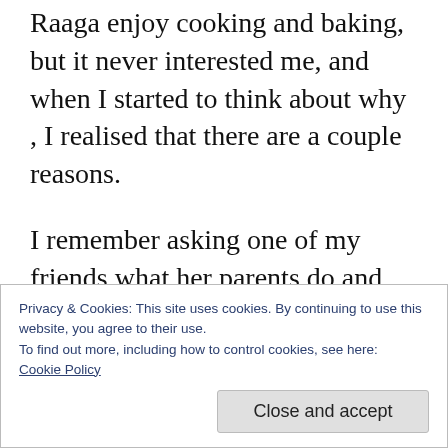Raaga enjoy cooking and baking, but it never interested me, and when I started to think about why , I realised that there are a couple reasons.
I remember asking one of my friends what her parents do and she said to me " My dad is a project developer and my mom gave her career up, to cook and take care of us."
And that didn't sound new or surprising to me,
Privacy & Cookies: This site uses cookies. By continuing to use this website, you agree to their use.
To find out more, including how to control cookies, see here:
Cookie Policy
Close and accept